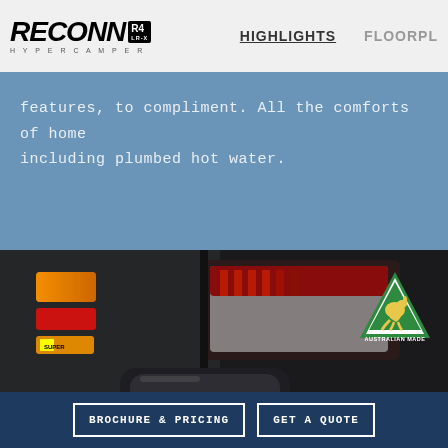RECONN R4 LR-X HYPERCAMPER | HIGHLIGHTS | FLOORPLAN
features, to compliment. All the comforts of home including plumbed hot water.
[Figure (photo): Close-up photo of the rear corner of a trailer or camper showing amber and red marker lights, a large tail light, and a black door handle against a dark background. An Australian Made kangaroo triangle badge is visible in the upper right.]
BROCHURE & PRICING
GET A QUOTE